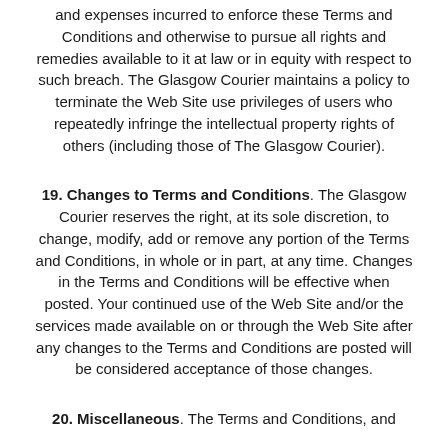and expenses incurred to enforce these Terms and Conditions and otherwise to pursue all rights and remedies available to it at law or in equity with respect to such breach. The Glasgow Courier maintains a policy to terminate the Web Site use privileges of users who repeatedly infringe the intellectual property rights of others (including those of The Glasgow Courier).
19. Changes to Terms and Conditions. The Glasgow Courier reserves the right, at its sole discretion, to change, modify, add or remove any portion of the Terms and Conditions, in whole or in part, at any time. Changes in the Terms and Conditions will be effective when posted. Your continued use of the Web Site and/or the services made available on or through the Web Site after any changes to the Terms and Conditions are posted will be considered acceptance of those changes.
20. Miscellaneous. The Terms and Conditions, and